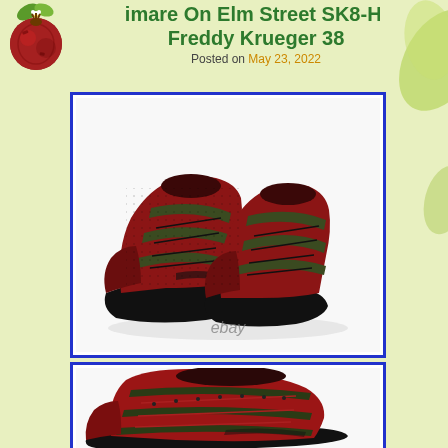Nightmare On Elm Street SK8-Hi Freddy Krueger 38
Posted on May 23, 2022
[Figure (photo): Vans SK8-Hi Freddy Krueger sneakers, red and dark green/black pattern, pair shown on white background, ebay watermark]
[Figure (photo): Vans SK8-Hi Freddy Krueger sneaker, red and dark stripe pattern, single shoe side view]